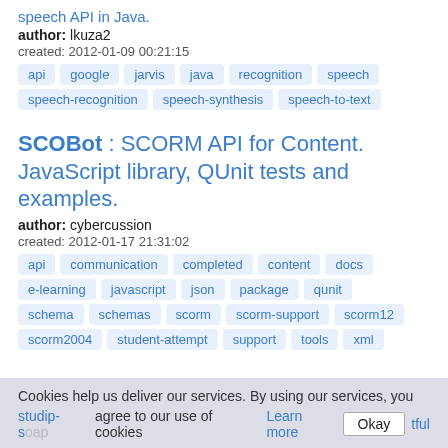speech API in Java.
author: lkuza2
created: 2012-01-09 00:21:15
api
google
jarvis
java
recognition
speech
speech-recognition
speech-synthesis
speech-to-text
SCOBot : SCORM API for Content. JavaScript library, QUnit tests and examples.
author: cybercussion
created: 2012-01-17 21:31:02
api
communication
completed
content
docs
e-learning
javascript
json
package
qunit
schema
schemas
scorm
scorm-support
scorm12
scorm2004
student-attempt
support
tools
xml
Cookies help us deliver our services. By using our services, you agree to our use of cookies Learn more Okay